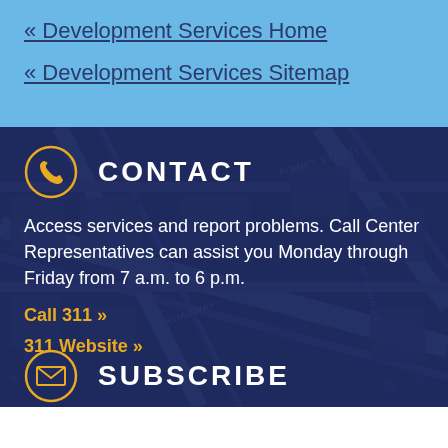« Development Services Home
« Development Services Sitemap
[Figure (map): Dark navy blue city street map overlay used as background for contact section]
CONTACT
Access services and report problems. Call Center Representatives can assist you Monday through Friday from 7 a.m. to 6 p.m.
Call 311 »
311 Website »
SUBSCRIBE